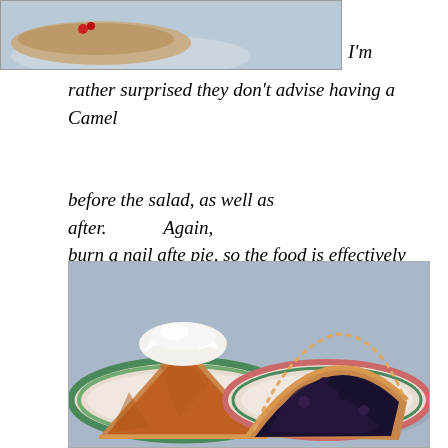[Figure (photo): Top partial image of food on a plate, cropped at top of page]
I'm rather surprised they don't advise having a Camel before the salad, as well as after.      Again, burn a nail afte pie, so the food is effectively broken down and moved into your digestive tract:
[Figure (illustration): Illustrated image of two slices of pie on decorative plates — left plate has a slice of pumpkin pie with whipped cream, right plate has a slice of dark berry pie. Both plates have green and pink rims on a blue background.]